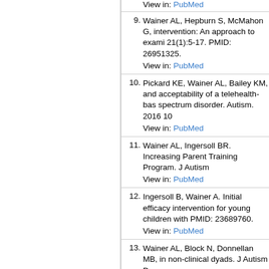9. Wainer AL, Hepburn S, McMahon G, ... intervention: An approach to exami... 21(1):5-17. PMID: 26951325. View in: PubMed
10. Pickard KE, Wainer AL, Bailey KM, ... and acceptability of a telehealth-bas... spectrum disorder. Autism. 2016 10... View in: PubMed
11. Wainer AL, Ingersoll BR. Increasing... Parent Training Program. J Autism ... View in: PubMed
12. Ingersoll B, Wainer A. Initial efficac... intervention for young children with... PMID: 23689760. View in: PubMed
13. Wainer AL, Block N, Donnellan MB,... in non-clinical dyads. J Autism Dev... View in: PubMed
14. Wainer AL, Ingersoll BR. Dissemina... program for parents and profession...